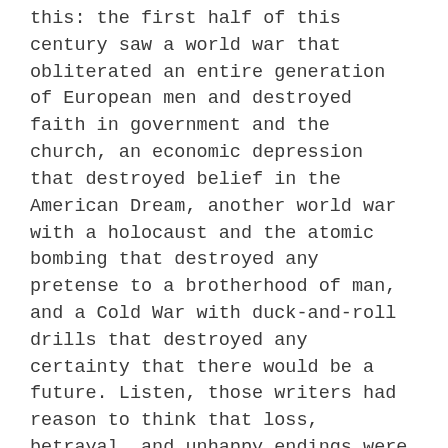this: the first half of this century saw a world war that obliterated an entire generation of European men and destroyed faith in government and the church, an economic depression that destroyed belief in the American Dream, another world war with a holocaust and the atomic bombing that destroyed any pretense to a brotherhood of man, and a Cold War with duck-and-roll drills that destroyed any certainty that there would be a future. Listen, those writers had reason to think that loss, betrayal, and unhappy endings were realistic.
But we're now in a period of unparalleled peace and prosperity. Yes, there's still tragedy and suffering in the world, but not unbroken tragedy and suffering, and in fact, most of us are surrounded by good stuff.